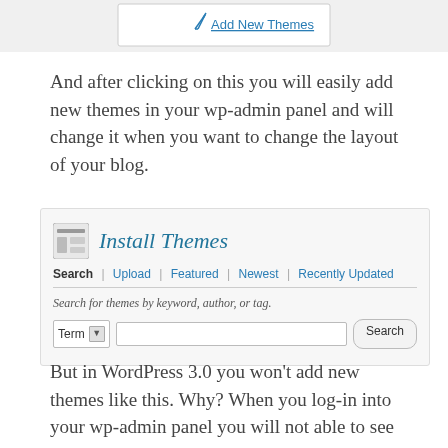[Figure (screenshot): WordPress admin panel showing 'Add New Themes' link with pencil/cursor icon]
And after clicking on this you will easily add new themes in your wp-admin panel and will change it when you want to change the layout of your blog.
[Figure (screenshot): WordPress Install Themes panel showing Search, Upload, Featured, Newest, Recently Updated tabs, and a search form with Term dropdown and Search button]
But in WordPress 3.0 you won't add new themes like this. Why? When you log-in into your wp-admin panel you will not able to see the Add New Themes Option directly as you can see in